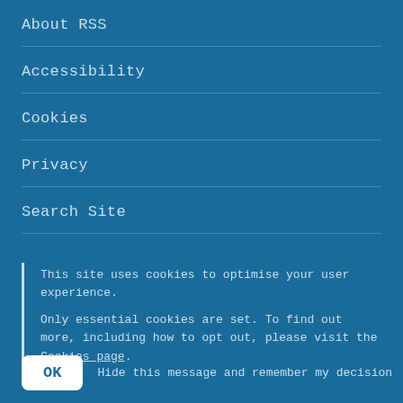About RSS
Accessibility
Cookies
Privacy
Search Site
This site uses cookies to optimise your user experience.

Only essential cookies are set. To find out more, including how to opt out, please visit the Cookies page.
OK   Hide this message and remember my decision